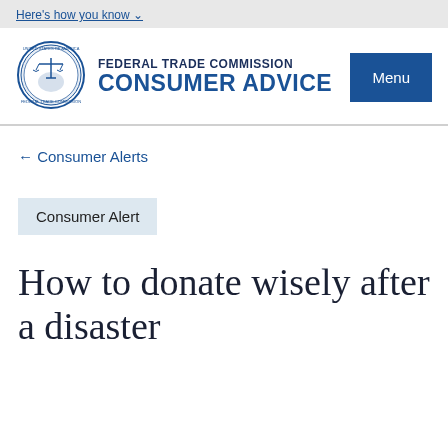Here's how you know
[Figure (logo): Federal Trade Commission seal/logo — circular blue emblem with scales of justice]
FEDERAL TRADE COMMISSION CONSUMER ADVICE
← Consumer Alerts
Consumer Alert
How to donate wisely after a disaster